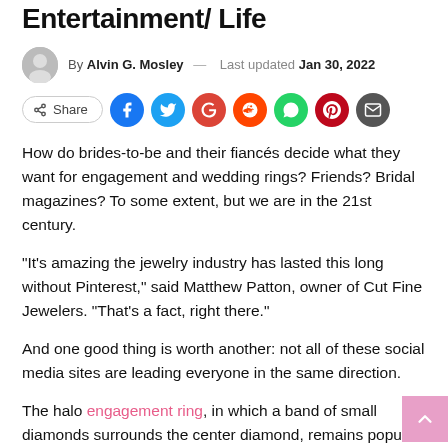Entertainment/ Life
By Alvin G. Mosley — Last updated Jan 30, 2022
How do brides-to-be and their fiancés decide what they want for engagement and wedding rings? Friends? Bridal magazines? To some extent, but we are in the 21st century.
“It’s amazing the jewelry industry has lasted this long without Pinterest,” said Matthew Patton, owner of Cut Fine Jewelers. “That’s a fact, right there.”
And one good thing is worth another: not all of these social media sites are leading everyone in the same direction.
The halo engagement ring, in which a band of small diamonds surrounds the center diamond, remains popular, said Richard Busceme, director at Anton’s Fine Jewelry.